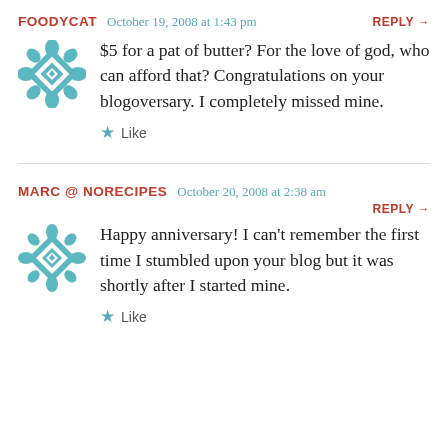FOODYCAT   October 19, 2008 at 1:43 pm   REPLY →
$5 for a pat of butter? For the love of god, who can afford that? Congratulations on your blogoversary. I completely missed mine.
★ Like
MARC @ NORECIPES   October 20, 2008 at 2:38 am   REPLY →
Happy anniversary! I can't remember the first time I stumbled upon your blog but it was shortly after I started mine.
★ Like